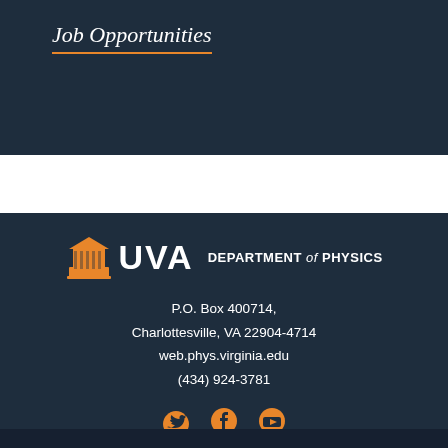Job Opportunities
[Figure (logo): UVA Department of Physics logo with building icon and text]
P.O. Box 400714, Charlottesville, VA 22904-4714 web.phys.virginia.edu (434) 924-3781
[Figure (infographic): Social media icons: Twitter, Facebook, YouTube in orange]
CODE OF CONDUCT